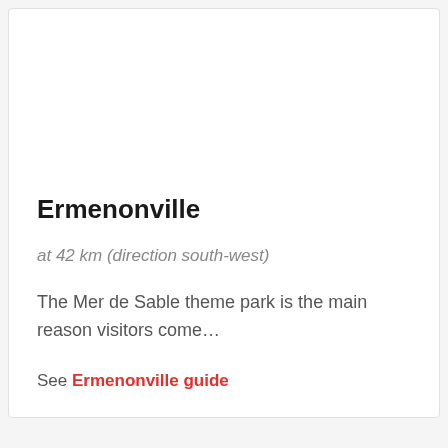Ermenonville
at 42 km (direction south-west)
The Mer de Sable theme park is the main reason visitors come…
See Ermenonville guide